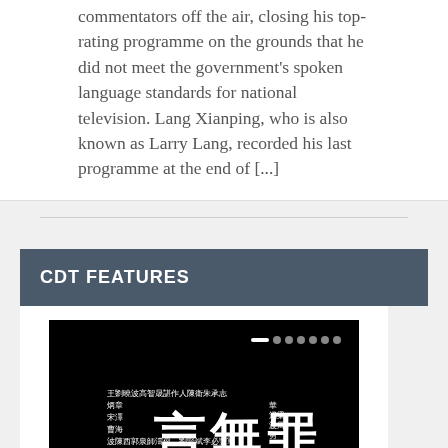commentators off the air, closing his top-rating programme on the grounds that he did not meet the government's spoken language standards for national television. Lang Xianping, who is also known as Larry Lang, recorded his last programme at the end of [...]
CDT FEATURES
[Figure (photo): Black background image with Chinese characters including large text '言無罪' (speech is not a crime) and names listed around the central text, plus a slider indicator at the top right]